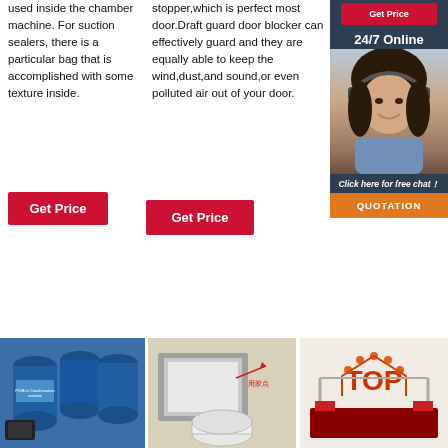used inside the chamber machine. For suction sealers, there is a particular bag that is accomplished with some texture inside.
[Figure (other): Red 'Get Price' button in left column]
stopper,which is perfect most door.Draft guard door blocker can effectively guard and they are equally able to keep the wind,dust,and sound,or even polluted air out of your door.
[Figure (other): Red 'Get Price' button in middle column]
[Figure (other): Sidebar with 24/7 Online customer service representative photo, 'Click here for free chat!' text, and orange QUOTATION button]
[Figure (photo): Blue industrial drums with PU/A product label and accessories]
[Figure (photo): Gray frame/panel product with glue point annotation in Chinese]
[Figure (logo): TOP logo with orange arch design and industrial machinery]